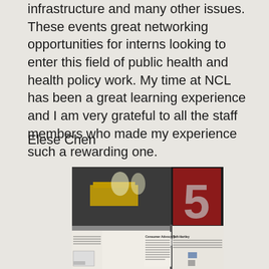infrastructure and many other issues. These events great networking opportunities for interns looking to enter this field of public health and health policy work. My time at NCL has been a great learning experience and I am very grateful to all the staff members who made my experience such a rewarding one.
Elese Chen
[Figure (photo): A photograph of a museum exhibit showing a display about Consumer Advocacy and Taft-Hartley, with exhibit panels and a large red number '5' visible in the upper right portion of the display.]